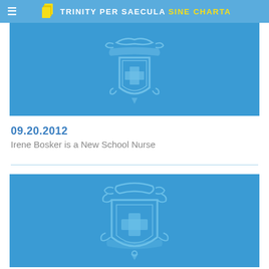≡ TRINITY PER SAECULA SINE CHARTA
[Figure (illustration): Blue banner with a light blue Trinity school crest/shield watermark containing a cross]
09.20.2012
Irene Bosker is a New School Nurse
[Figure (illustration): Blue rectangle with a light blue Trinity school crest/shield centered, featuring ornate scrollwork and a cross]